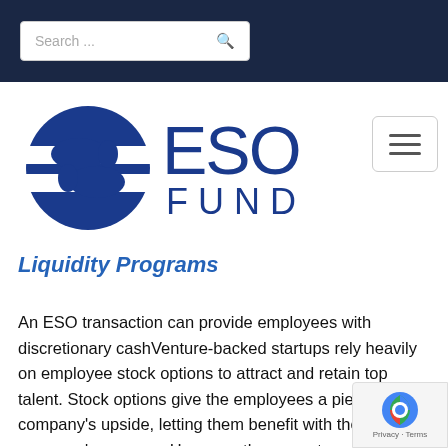Search ...
[Figure (logo): ESO Fund logo with stylized circular icon and 'ESO FUND' text in blue]
Liquidity Programs
An ESO transaction can provide employees with discretionary cashVenture-backed startups rely heavily on employee stock options to attract and retain top talent. Stock options give the employees a piece of the company's upside, letting them benefit with the company's success. However, the current environment for IPOs often makes for a very long time horizon to achieve liquidity and has given rise to secondary